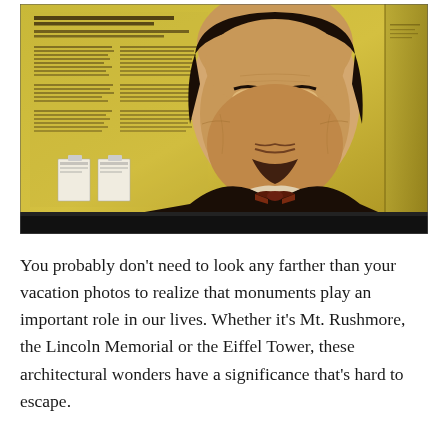[Figure (photo): Museum exhibit photograph showing a large portrait/mural of Abraham Lincoln on a yellow wall, with display panels containing text in the background on the left side, two white brochure/pamphlet holders mounted on the wall, and a dark floor at the bottom.]
You probably don't need to look any farther than your vacation photos to realize that monuments play an important role in our lives. Whether it's Mt. Rushmore, the Lincoln Memorial or the Eiffel Tower, these architectural wonders have a significance that's hard to escape.